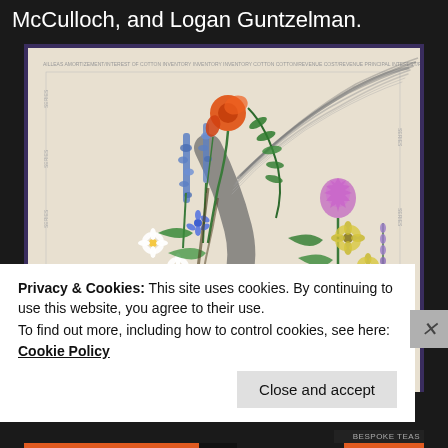McCulloch, and Logan Guntzelman.
[Figure (illustration): Botanical illustration showing a bird (possibly a bird of paradise or similar) rendered in dark grey/charcoal tones intertwined with colorful wildflowers and foliage including purple clematis, blue lupines, red poppies, white daisies, teal succulents, yellow wildflowers, thistle, and green ferns. Background is a light beige/cream parchment with faint text markings. Purple border frame visible.]
Privacy & Cookies: This site uses cookies. By continuing to use this website, you agree to their use.
To find out more, including how to control cookies, see here: Cookie Policy
Close and accept